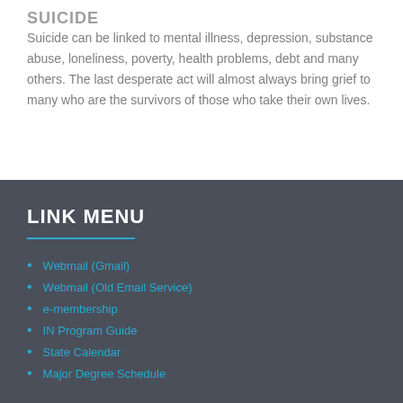SUICIDE
Suicide can be linked to mental illness, depression, substance abuse, loneliness, poverty, health problems, debt and many others. The last desperate act will almost always bring grief to many who are the survivors of those who take their own lives.
LINK MENU
Webmail (Gmail)
Webmail (Old Email Service)
e-membership
IN Program Guide
State Calendar
Major Degree Schedule